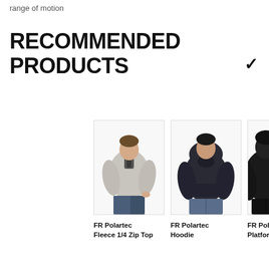range of motion
RECOMMENDED PRODUCTS
[Figure (photo): Product photo of FR Polartec Fleece 1/4 Zip Top - a woman wearing a light gray quarter-zip fleece top]
FR Polartec Fleece 1/4 Zip Top
[Figure (photo): Product photo of FR Polartec Hoodie - a man wearing a dark navy hooded sweatshirt]
FR Polartec Hoodie
[Figure (photo): Product photo of FR Polartec Platform - partially visible, person wearing black clothing]
FR Polartec Platform ...